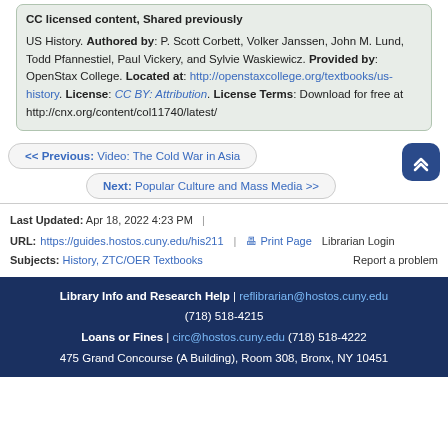CC licensed content, Shared previously
US History. Authored by: P. Scott Corbett, Volker Janssen, John M. Lund, Todd Pfannestiel, Paul Vickery, and Sylvie Waskiewicz. Provided by: OpenStax College. Located at: http://openstaxcollege.org/textbooks/us-history. License: CC BY: Attribution. License Terms: Download for free at http://cnx.org/content/col11740/latest/
<< Previous: Video: The Cold War in Asia
Next: Popular Culture and Mass Media >>
Last Updated: Apr 18, 2022 4:23 PM
URL: https://guides.hostos.cuny.edu/his211
Print Page  Librarian Login  Report a problem
Subjects: History, ZTC/OER Textbooks
Library Info and Research Help | reflibrarian@hostos.cuny.edu
(718) 518-4215
Loans or Fines | circ@hostos.cuny.edu (718) 518-4222
475 Grand Concourse (A Building), Room 308, Bronx, NY 10451